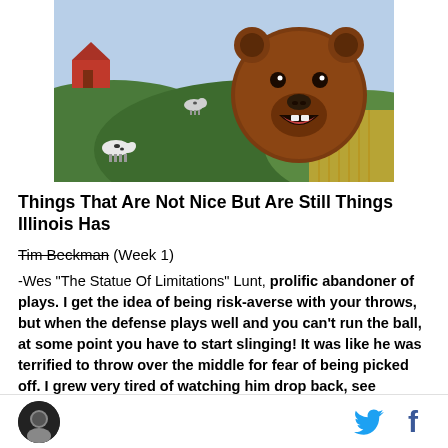[Figure (illustration): Colorful illustrated scene showing a cartoon bear mascot with a large round brown head and open mouth, overlaid on a pastoral farm landscape with green hills, grazing cows, a red barn, and yellow crop fields in the background.]
Things That Are Not Nice But Are Still Things Illinois Has
-Tim Beckman (Week 1)
-Wes "The Statue Of Limitations" Lunt, prolific abandoner of plays. I get the idea of being risk-averse with your throws, but when the defense plays well and you can't run the ball, at some point you have to start slinging! It was like he was terrified to throw over the middle for fear of being picked off. I grew very tired of watching him drop back, see coverage and go "screw it" and toss it out of bounds. He did
Twitter and Facebook social share icons with site logo